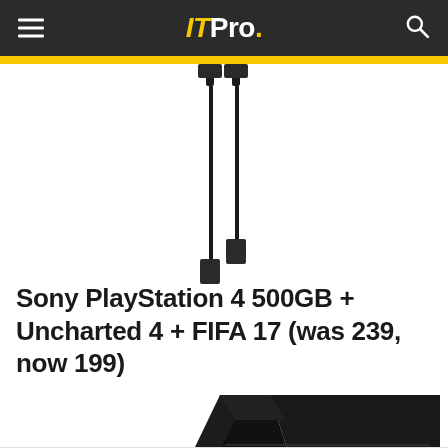ITPro.
[Figure (photo): Product photo of HDMI or USB cables against white background, shown dangling from top, black cables.]
Sony PlayStation 4 500GB + Uncharted 4 + FIFA 17 (was 239, now 199)
[Figure (photo): Product photo of a Sony PlayStation 4 console, black, shown upright, partially cropped at bottom of page.]